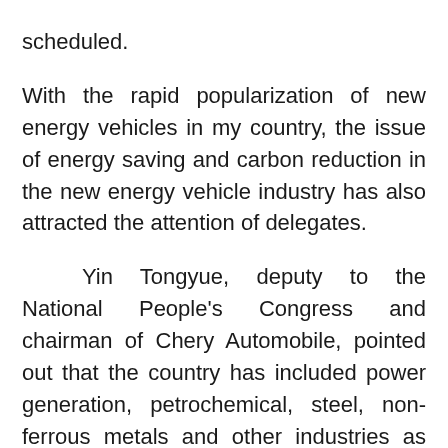scheduled.
With the rapid popularization of new energy vehicles in my country, the issue of energy saving and carbon reduction in the new energy vehicle industry has also attracted the attention of delegates.
Yin Tongyue, deputy to the National People's Congress and chairman of Chery Automobile, pointed out that the country has included power generation, petrochemical, steel, non-ferrous metals and other industries as key targets for carbon [Close X]ission management, and through the market-oriented means of national carbon trading